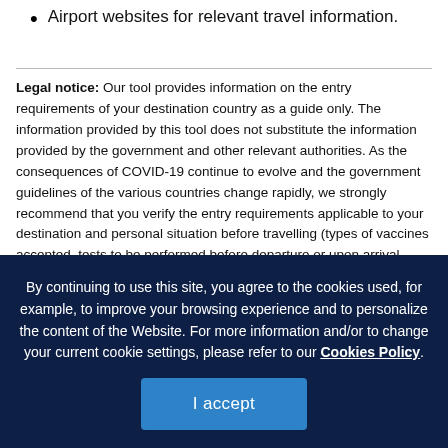Airport websites for relevant travel information.
Legal notice: Our tool provides information on the entry requirements of your destination country as a guide only. The information provided by this tool does not substitute the information provided by the government and other relevant authorities. As the consequences of COVID-19 continue to evolve and the government guidelines of the various countries change rapidly, we strongly recommend that you verify the entry requirements applicable to your destination and personal situation before travelling (types of vaccines accepted, tests to be performed before departure or upon arrival, quarantine to be respected, etc.) by regularly consulting the Canadian government website https://travel.gc.ca/
By continuing to use this site, you agree to the cookies used, for example, to improve your browsing experience and to personalize the content of the Website. For more information and/or to change your current cookie settings, please refer to our Cookies Policy.
I accept